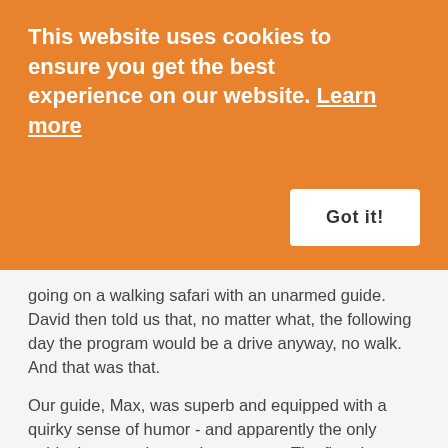This website uses cookies to ensure you get the best experience on our website. Learn more
Got it!
going on a walking safari with an unarmed guide. David then told us that, no matter what, the following day the program would be a drive anyway, no walk. And that was that.
Our guide, Max, was superb and equipped with a quirky sense of humor - and apparently the only guide the camp has at the moment. The first day, we drove off at 6am, with the idea of having breakfast in the bush. Which was fine, except for some reason we only had breakfast at 10.45 (our own fault to some degree: we should have piped up, I suppose, instead of just waiting for Max to finally stop for the food).